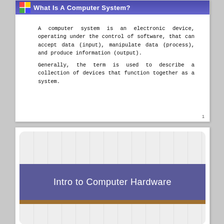What Is A Computer System?
A computer system is an electronic device, operating under the control of software, that can accept data (input), manipulate data (process), and produce information (output). Generally, the term is used to describe a collection of devices that function together as a system.
1
Intro to Computer Hardware